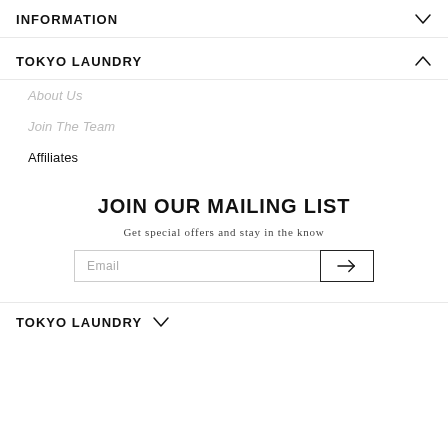INFORMATION
TOKYO LAUNDRY
About Us
Join The Team
Affiliates
JOIN OUR MAILING LIST
Get special offers and stay in the know
Email
TOKYO LAUNDRY